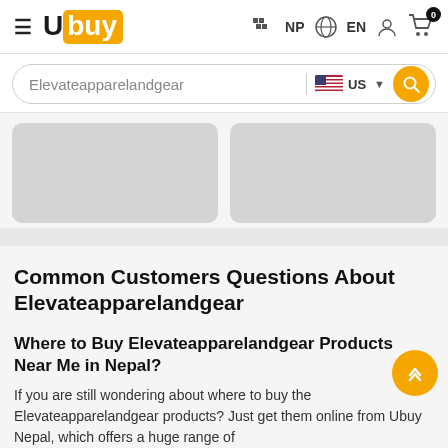[Figure (screenshot): Ubuy website header with hamburger menu, Ubuy logo, NP country selector, EN language selector, user icon, and cart icon with 0 badge]
[Figure (screenshot): Search bar with placeholder text 'Elevateapparelandgear', US flag country selector with dropdown arrow, and yellow search button]
[Figure (screenshot): Two gray placeholder product card images in a light gray background area]
Common Customers Questions About Elevateapparelandgear
Where to Buy Elevateapparelandgear Products Near Me in Nepal?
If you are still wondering about where to buy the Elevateapparelandgear products? Just get them online from Ubuy Nepal, which offers a huge range of